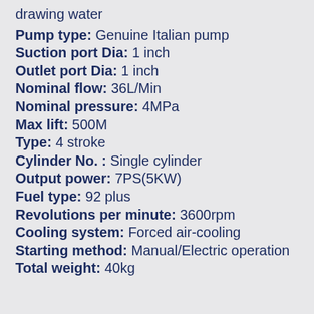drawing water
Pump type: Genuine Italian pump
Suction port Dia: 1 inch
Outlet port Dia: 1 inch
Nominal flow: 36L/Min
Nominal pressure: 4MPa
Max lift: 500M
Type: 4 stroke
Cylinder No. : Single cylinder
Output power: 7PS(5KW)
Fuel type: 92 plus
Revolutions per minute: 3600rpm
Cooling system: Forced air-cooling
Starting method: Manual/Electric operation
Total weight: 40kg